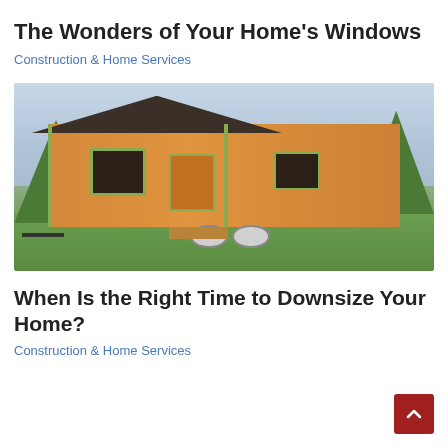The Wonders of Your Home’s Windows
Construction & Home Services
[Figure (photo): Photo of a tiny house on wheels with orange wood siding, green trim, dark roof, windows with green frames, an orange door, and wooden steps, parked on a grassy field with trees in the background.]
When Is the Right Time to Downsize Your Home?
Construction & Home Services